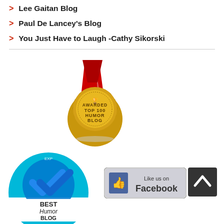Lee Gaitan Blog
Paul De Lancey's Blog
You Just Have to Laugh -Cathy Sikorski
[Figure (illustration): Gold medal badge awarded Top 100 Humor Blog with red ribbon]
[Figure (illustration): Blue circular badge: Best Humor Blog, expertly selected]
[Figure (illustration): Like us on Facebook button with thumbs up icon]
[Figure (illustration): Dark square back-to-top button with upward caret arrow]